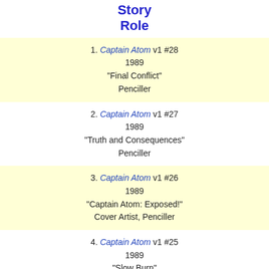Story
Role
1. Captain Atom v1 #28
1989
"Final Conflict"
Penciller
2. Captain Atom v1 #27
1989
"Truth and Consequences"
Penciller
3. Captain Atom v1 #26
1989
"Captain Atom: Exposed!"
Cover Artist, Penciller
4. Captain Atom v1 #25
1989
"Slow Burn"
Penciller
5. Captain Atom v1 #24
1988
"War-Day"